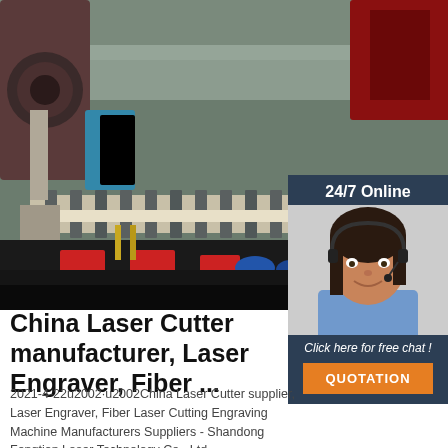[Figure (photo): Industrial laser cutting machine in a factory setting, showing a long metal rail/conveyor system with red support brackets and machinery in the background]
24/7 Online
[Figure (photo): Woman with headset smiling, representing a customer service representative]
Click here for free chat !
QUOTATION
China Laser Cutter manufacturer, Laser Engraver, Fiber ...
2021-4-22u2002·u2002China Laser Cutter supplier, Laser Engraver, Fiber Laser Cutting Engraving Machine Manufacturers Suppliers - Shandong Fengtian Laser Technology Co., Ltd